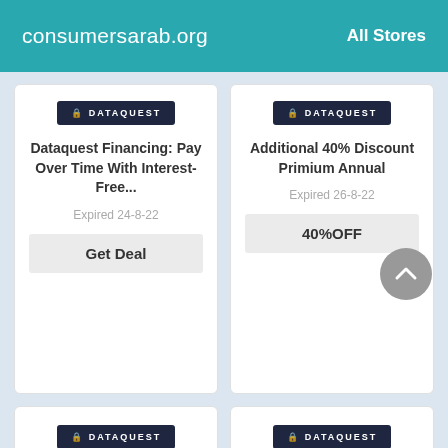consumersarab.org  All Stores
[Figure (logo): Dataquest dark badge logo]
Dataquest Financing: Pay Over Time With Interest-Free...
Expired 24-8-22
Get Deal
[Figure (logo): Dataquest dark badge logo]
Additional 40% Discount Primium Annual
Expired 26-8-22
40%OFF
[Figure (logo): Dataquest dark badge logo]
Get An Extra Half...
[Figure (logo): Dataquest dark badge logo]
32% Off Annual...